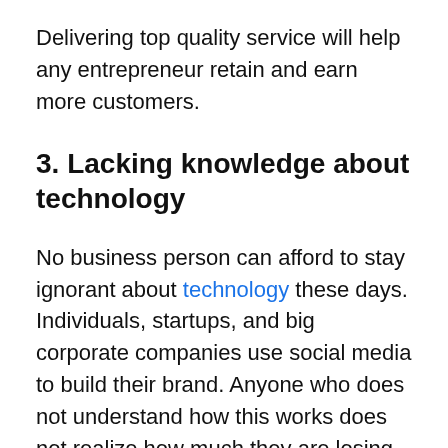Delivering top quality service will help any entrepreneur retain and earn more customers.
3. Lacking knowledge about technology
No business person can afford to stay ignorant about technology these days. Individuals, startups, and big corporate companies use social media to build their brand. Anyone who does not understand how this works does not realize how much they are losing. Being tech savvy allows entrepreneurs to surf the internet and